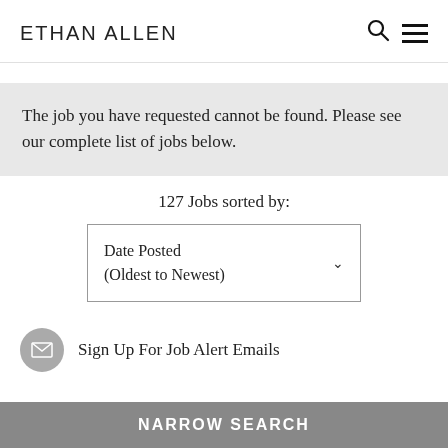ETHAN ALLEN
The job you have requested cannot be found. Please see our complete list of jobs below.
127 Jobs sorted by:
Date Posted (Oldest to Newest)
Sign Up For Job Alert Emails
NARROW SEARCH